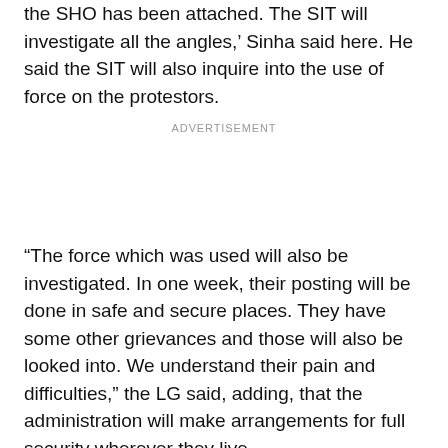the SHO has been attached. The SIT will investigate all the angles,' Sinha said here. He said the SIT will also inquire into the use of force on the protestors.
ADVERTISEMENT
“The force which was used will also be investigated. In one week, their posting will be done in safe and secure places. They have some other grievances and those will also be looked into. We understand their pain and difficulties,” the LG said, adding, that the administration will make arrangements for full security wherever they live.